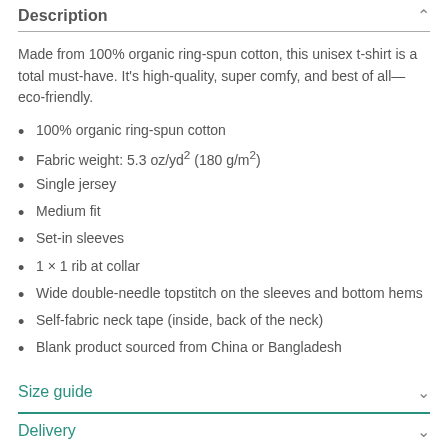Description
Made from 100% organic ring-spun cotton, this unisex t-shirt is a total must-have. It's high-quality, super comfy, and best of all—eco-friendly.
100% organic ring-spun cotton
Fabric weight: 5.3 oz/yd² (180 g/m²)
Single jersey
Medium fit
Set-in sleeves
1 × 1 rib at collar
Wide double-needle topstitch on the sleeves and bottom hems
Self-fabric neck tape (inside, back of the neck)
Blank product sourced from China or Bangladesh
Size guide
Delivery